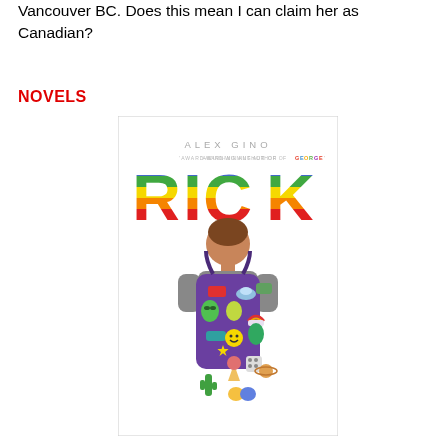Vancouver BC. Does this mean I can claim her as Canadian?
NOVELS
[Figure (illustration): Book cover for 'RICK' by Alex Gino, award-winning author of GEORGE. Shows a child seen from behind wearing a purple backpack covered in colorful stickers, with rainbow-colored large letters spelling RICK above.]